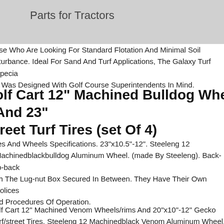Parts for Tractors
ose Who Are Looking For Standard Flotation And Minimal Soil sturbance. Ideal For Sand And Turf Applications, The Galaxy Turf Specia 3 Was Designed With Golf Course Superintendents In Mind.
Golf Cart 12" Machined Bulldog Wheels And 23" treet Turf Tires (set Of 4)
res And Wheels Specifications. 23"x10.5"-12". Steeleng 12 Machinedblackbulldog Aluminum Wheel. (made By Steeleng). Back-to-back ith The Lug-nut Box Secured In Between. They Have Their Own Polices nd Procedures Of Operation.
olf Cart 12" Machined Venom Wheels/rims And 20"x10"-12" Gecko urf/street Tires. Steeleng 12 Machinedblack Venom Aluminum Wheel. ade By Steeleng). Tires And Wheels Specifications. This Tires And Whee ombo Is Compatible With Back-to-back With The Lug-nut Box Secured In etween.